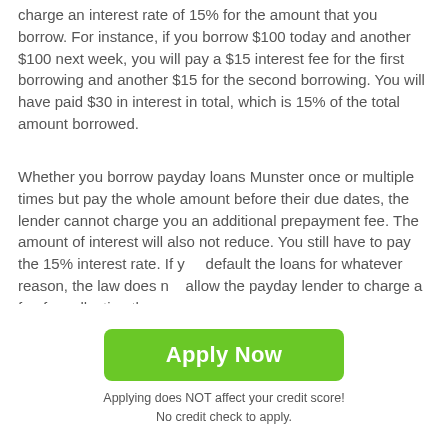charge an interest rate of 15% for the amount that you borrow. For instance, if you borrow $100 today and another $100 next week, you will pay a $15 interest fee for the first borrowing and another $15 for the second borrowing. You will have paid $30 in interest in total, which is 15% of the total amount borrowed.
Whether you borrow payday loans Munster once or multiple times but pay the whole amount before their due dates, the lender cannot charge you an additional prepayment fee. The amount of interest will also not reduce. You still have to pay the 15% interest rate. If you default the loans for whatever reason, the law does not allow the payday lender to charge a fee for collecting the
Apply Now
Applying does NOT affect your credit score!
No credit check to apply.